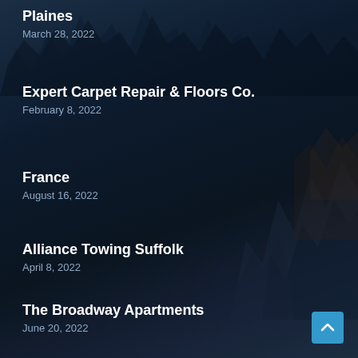Plaines
March 28, 2022
Expert Carpet Repair & Floors Co.
February 8, 2022
France
August 16, 2022
Alliance Towing Suffolk
April 8, 2022
The Broadway Apartments
June 20, 2022